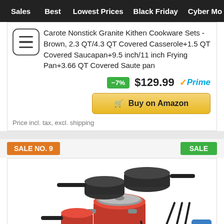Sales  Best  Lowest Prices  Black Friday  Cyber Mo
Carote Nonstick Granite Kithen Cookware Sets - Brown, 2.3 QT/4.3 QT Covered Casserole+1.5 QT Covered Saucapan+9.5 inch/11 inch Frying Pan+3.66 QT Covered Saute pan
-7%  $129.99  Prime
Buy on Amazon
Price incl. tax, excl. shipping
SALE NO. 9
SALE
[Figure (photo): Red and black nonstick cookware set with multiple pots, pans, and utensils]